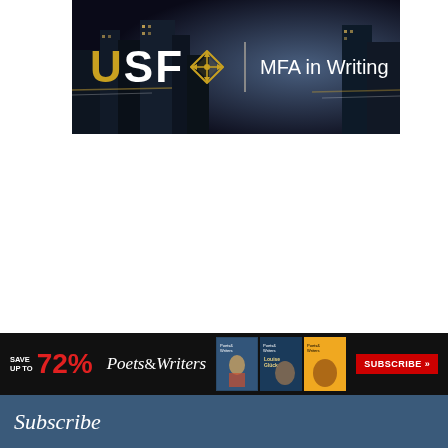[Figure (logo): USF MFA in Writing banner advertisement with gold USF text and logo on dark urban night background]
[Figure (infographic): Poets & Writers magazine subscription advertisement: SAVE UP TO 72% with magazine covers shown and red SUBSCRIBE button]
Subscribe